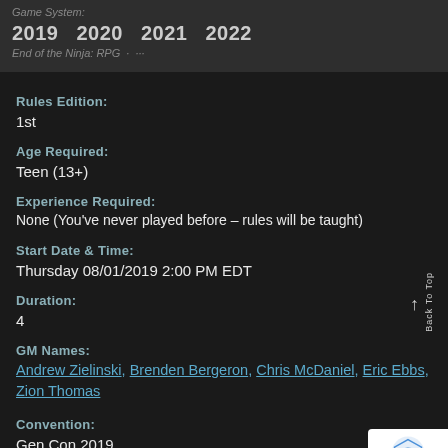Game System: ···
2019 · 2020 · 2021 · 2022
End of the Ninja: RPG ···
Rules Edition:
1st
Age Required:
Teen (13+)
Experience Required:
None (You've never played before – rules will be taught)
Start Date & Time:
Thursday 08/01/2019 2:00 PM EDT
Duration:
4
GM Names:
Andrew Zielinski, Brenden Bergeron, Chris McDaniel, Eric Ebbs, Zion Thomas
Convention:
Gen Con 2019